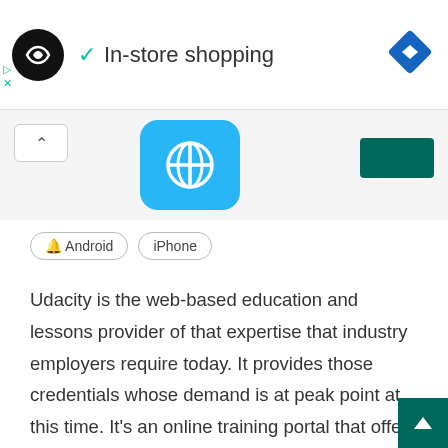[Figure (screenshot): Top navigation bar with a circular logo (dark with infinity-like icon), a teal checkmark followed by 'In-store shopping' text, and a blue diamond navigation icon on the right. Small ad icons (play and X) on the lower left.]
[Figure (screenshot): Middle section showing a white up-caret button, a blue rounded app icon with a globe symbol, and a dark green rectangular banner partially visible.]
Android   iPhone
Udacity is the web-based education and lessons provider of that expertise that industry employers require today. It provides those credentials whose demand is at peak point at this time. It’s an online training portal that offers courses and training on the web, mobile development, data analyst, programming, and